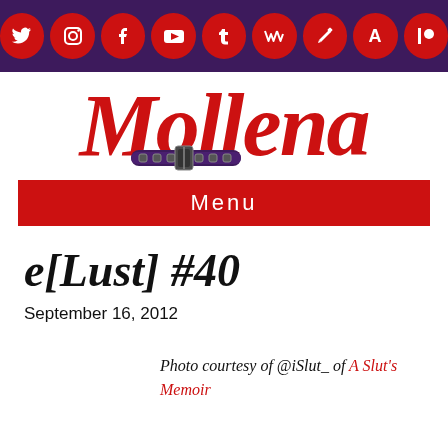[Figure (logo): Social media icons bar with dark purple background: Twitter, Instagram, Facebook, YouTube, Tumblr, Wattpad, Pencil/edit, A, Patreon — red circular icons with white symbols]
[Figure (logo): Mollena blog logo in large red italic serif text with a purple studded collar graphic around the two l letters]
Menu
e[Lust] #40
September 16, 2012
Photo courtesy of @iSlut_ of A Slut's Memoir